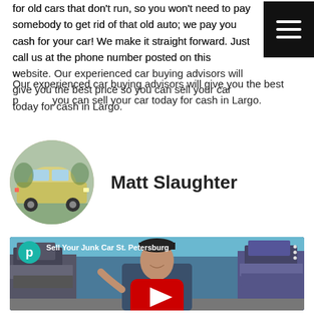for old cars that don't run, so you won't need to pay somebody to get rid of that old auto; we pay you cash for your car! We make it straight forward. Just call us at the phone number posted on this website. Our experienced car buying advisors will give you the best price so you can sell your car today for cash in Largo.
[Figure (photo): Circular avatar photo of an old silver/gold sedan car, used as author profile image]
Matt Slaughter
[Figure (screenshot): YouTube video thumbnail showing a man in dark shirt speaking in front of a junkyard with stacked cars. The video title reads 'Sell Your Junk Car St. Petersburg'. A teal P circle icon and YouTube play button are visible.]